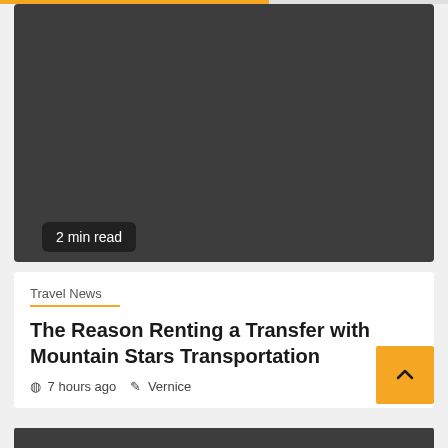[Figure (photo): Dark gray hero image placeholder for article thumbnail]
2 min read
Travel News
The Reason Renting a Transfer with Mountain Stars Transportation
7 hours ago  Vernice